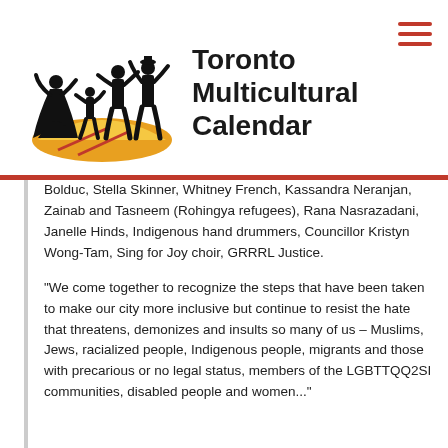[Figure (logo): Toronto Multicultural Calendar logo: silhouettes of dancers in traditional costumes on a yellow/orange semi-circle base]
Toronto Multicultural Calendar
Bolduc, Stella Skinner, Whitney French, Kassandra Neranjan, Zainab and Tasneem (Rohingya refugees), Rana Nasrazadani, Janelle Hinds, Indigenous hand drummers, Councillor Kristyn Wong-Tam, Sing for Joy choir, GRRRL Justice.
“We come together to recognize the steps that have been taken to make our city more inclusive but continue to resist the hate that threatens, demonizes and insults so many of us – Muslims, Jews, racialized people, Indigenous people, migrants and those with precarious or no legal status, members of the LGBTTQQ2SI communities, disabled people and women...”